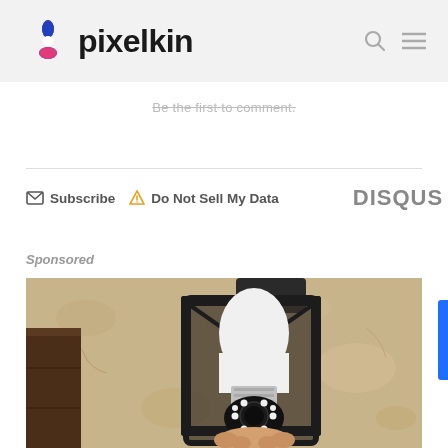pixelkin
Be the first to comment.
Subscribe  Do Not Sell My Data  DISQUS
Sponsored
[Figure (photo): A smart light bulb camera being installed in an outdoor lantern-style fixture mounted on a stucco wall]